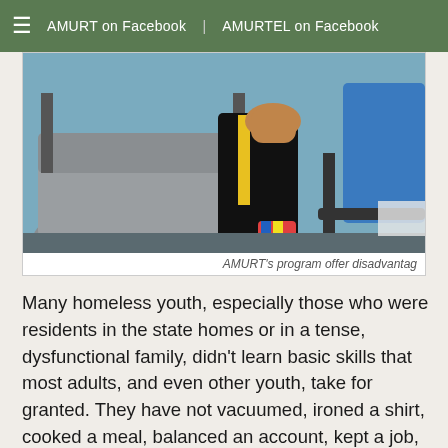AMURT on Facebook | AMURTEL on Facebook
[Figure (photo): Close-up photo of grey office chairs with people sitting, showing legs and hands holding items in a classroom or meeting setting]
AMURT's program offer disadvantag
Many homeless youth, especially those who were residents in the state homes or in a tense, dysfunctional family, didn't learn basic skills that most adults, and even other youth, take for granted. They have not vacuumed, ironed a shirt, cooked a meal, balanced an account, kept a job, or solved an argument through compromise, so life skills training plays an important role in this project. They also receive individual and group counseling